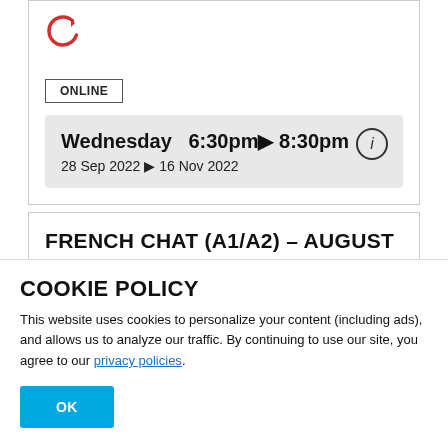[Figure (logo): Red circular refresh/reload icon]
ONLINE
Wednesday  6:30pm▶ 8:30pm
28 Sep 2022▶ 16 Nov 2022
FRENCH CHAT (A1/A2) – AUGUST
SPEAK
COOKIE POLICY
This website uses cookies to personalize your content (including ads), and allows us to analyze our traffic. By continuing to use our site, you agree to our privacy policies.
OK